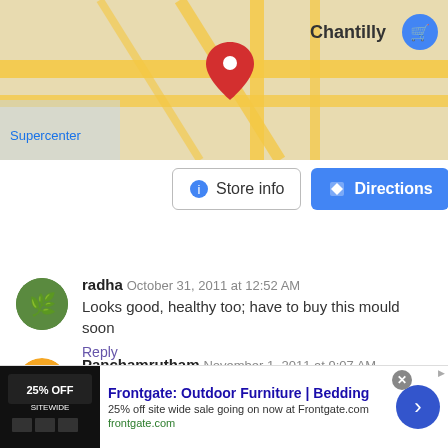[Figure (screenshot): Google Maps screenshot showing Chantilly area with Supercenter marker and a red pin. Store info and Directions buttons shown below the map.]
radha October 31, 2011 at 12:52 AM
Looks good, healthy too; have to buy this mould soon
Reply
Panchamrutham November 1, 2011 at 9:07 AM
Healthy way to start ur day....

http://www.panchamrutham.blogspot.com/
[Figure (screenshot): Advertisement banner: Frontgate: Outdoor Furniture | Bedding. 25% off site wide sale going on now at Frontgate.com. frontgate.com]